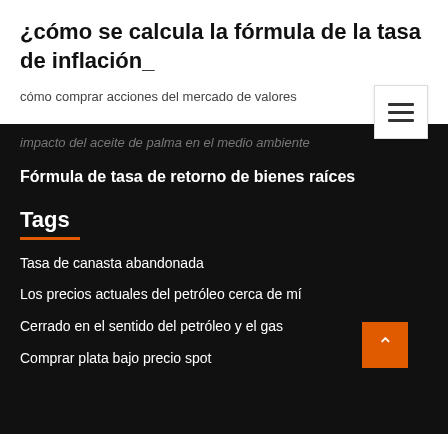¿cómo se calcula la fórmula de la tasa de inflación_
cómo comprar acciones del mercado de valores
impacto del aceite de palma en el medio ambiente
Fórmula de tasa de retorno de bienes raíces
Tags
Tasa de canasta abandonada
Los precios actuales del petróleo cerca de mí
Cerrado en el sentido del petróleo y el gas
Comprar plata bajo precio spot